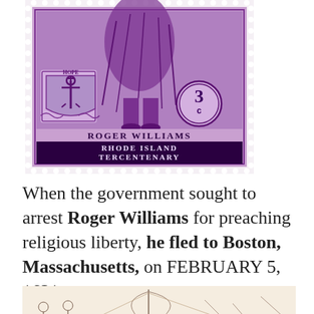[Figure (illustration): A purple US postage stamp depicting Roger Williams, with the Rhode Island coat of arms (Hope shield with anchor and cross), a 3 cent denomination circle, the text 'ROGER WILLIAMS' and 'RHODE ISLAND TERCENTENARY' at the bottom. The stamp has a perforated border.]
When the government sought to arrest Roger Williams for preaching religious liberty, he fled to Boston, Massachusetts, on FEBRUARY 5, 1631.
[Figure (illustration): A black and white sketch/engraving showing figures on what appears to be a boat or ship scene, partially visible at the bottom of the page.]